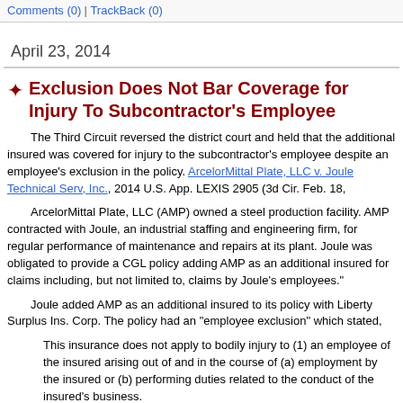Comments (0) | TrackBack (0)
April 23, 2014
❧ Exclusion Does Not Bar Coverage for Injury To Subcontractor's Employee
The Third Circuit reversed the district court and held that the additional insured was covered for injury to the subcontractor's employee despite an employee's exclusion in the policy. ArcelorMittal Plate, LLC v. Joule Technical Serv, Inc., 2014 U.S. App. LEXIS 2905 (3d Cir. Feb. 18,
ArcelorMittal Plate, LLC (AMP) owned a steel production facility. AMP contracted with Joule, an industrial staffing and engineering firm, for regular performance of maintenance and repairs at its plant. Joule was obligated to provide a CGL policy adding AMP as an additional insured for claims including, but not limited to, claims by Joule's employees."
Joule added AMP as an additional insured to its policy with Liberty Surplus Ins. Corp. The policy had an "employee exclusion" which stated,
This insurance does not apply to bodily injury to (1) an employee of the insured arising out of and in the course of (a) employment by the insured or (b) performing duties related to the conduct of the insured's business.
The policy also contained a severability clause, stating that,
This insurance applies: a. As if each Named Insured were the only named Insured; and b. Separately to each insured against whom claim is made or suit is brough
In January 2008, several Joule employees were performing maintenance at the plant. While climbing down a ladder, William Green fell and seriously injured himself. Green and h